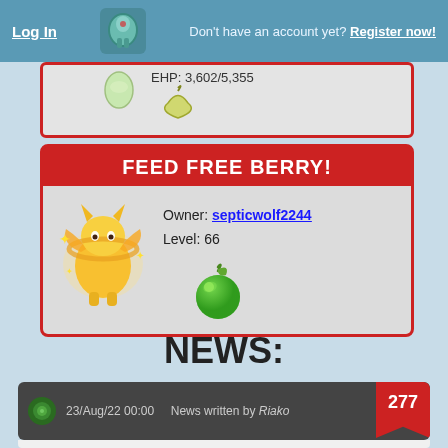Log In   Don't have an account yet? Register now!
EHP: 3,602/5,355
FEED FREE BERRY!
Owner: septicwolf2244
Level: 66
NEWS:
23/Aug/22 00:00   News written by Riako   277